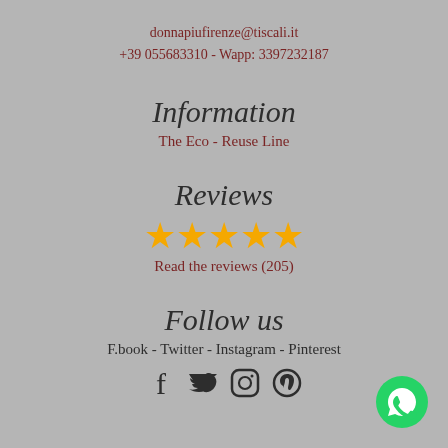donnapiufirenze@tiscali.it
+39 055683310 - Wapp: 3397232187
Information
The Eco - Reuse Line
Reviews
[Figure (other): Five gold star rating icons]
Read the reviews (205)
Follow us
F.book - Twitter - Instagram - Pinterest
[Figure (other): Social media icons: Facebook, Twitter, Instagram, Pinterest]
[Figure (other): WhatsApp green button icon in bottom right corner]